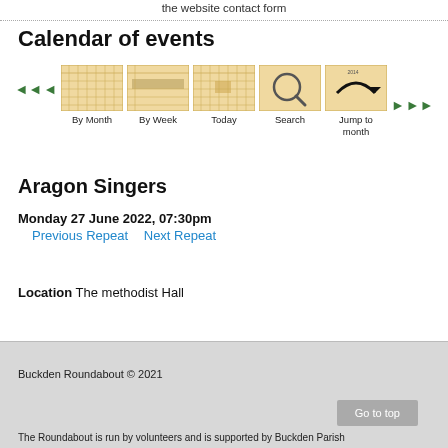the website contact form
Calendar of events
[Figure (screenshot): Calendar navigation icons: By Month, By Week, Today, Search, Jump to month with left/right arrow buttons]
Aragon Singers
Monday 27 June 2022, 07:30pm
Previous Repeat    Next Repeat
Location The methodist Hall
Buckden Roundabout © 2021
The Roundabout is run by volunteers and is supported by Buckden Parish